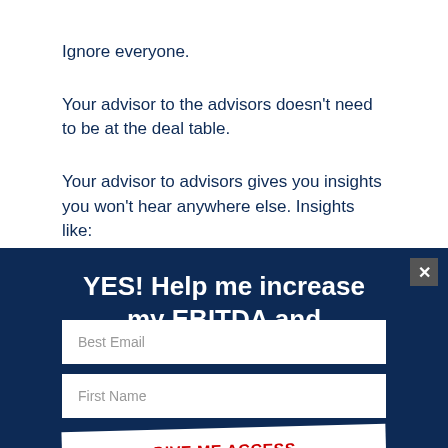Ignore everyone.
Your advisor to the advisors doesn't need to be at the deal table.
Your advisor to advisors gives you insights you won't hear anywhere else. Insights like:
YES! Help me increase my EBITDA and Enterprise Value
Best Email
First Name
GIVE ME ACCESS